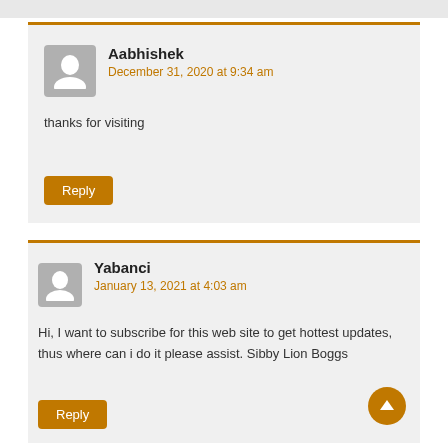Aabhishek
December 31, 2020 at 9:34 am
thanks for visiting
Reply
Yabanci
January 13, 2021 at 4:03 am
Hi, I want to subscribe for this web site to get hottest updates, thus where can i do it please assist. Sibby Lion Boggs
Reply